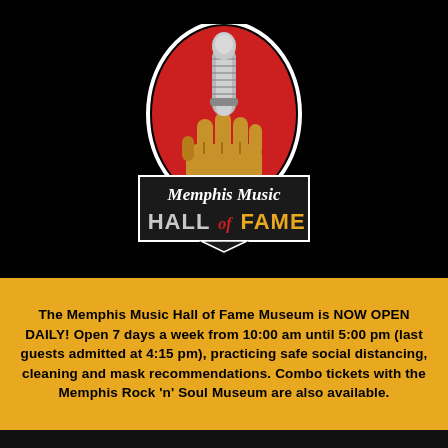[Figure (logo): Memphis Music Hall of Fame logo — a fist holding a vintage microphone on a red arch background, with a black banner below reading 'Memphis Music Hall of Fame' in stylized script and bold lettering]
The Memphis Music Hall of Fame Museum is NOW OPEN DAILY! Open 7 days a week from 10:00 am until 5:00 pm (last guests admitted at 4:15 pm), practicing safe social distancing, cleaning and mask recommendations. Combo tickets with the Memphis Rock 'n' Soul Museum are also available.